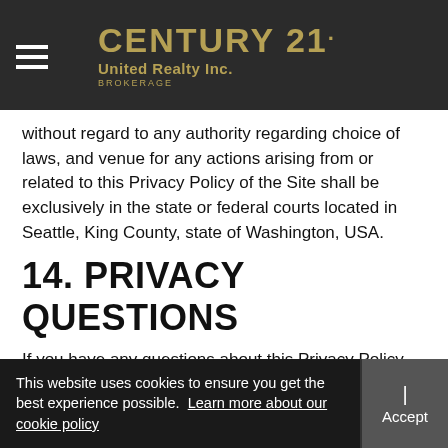CENTURY 21. United Realty Inc. BROKERAGE
without regard to any authority regarding choice of laws, and venue for any actions arising from or related to this Privacy Policy of the Site shall be exclusively in the state or federal courts located in Seattle, King County, state of Washington, USA.
14. PRIVACY QUESTIONS
If you have any questions about this Privacy Policy, please contact us at: privacy@moxiworks.com.
Team vanRohen Century 21 United
This website uses cookies to ensure you get the best experience possible. Learn more about our cookie policy | Accept